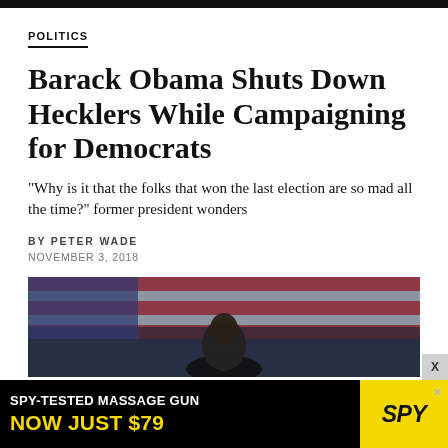POLITICS
Barack Obama Shuts Down Hecklers While Campaigning for Democrats
"Why is it that the folks that won the last election are so mad all the time?" former president wonders
BY PETER WADE
NOVEMBER 3, 2018
[Figure (photo): Photo of Barack Obama speaking at a campaign rally in front of an American flag backdrop]
[Figure (infographic): Advertisement banner: SPY-TESTED MASSAGE GUN NOW JUST $79 with SPY logo in yellow]